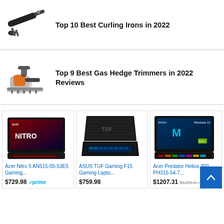Top 10 Best Curling Irons in 2022
Top 9 Best Gas Hedge Trimmers in 2022 Reviews
[Figure (photo): Acer Nitro 5 AN515-55-53E5 gaming laptop product image]
Acer Nitro 5 AN515-55-53E5 Gaming...
$729.98 prime
[Figure (photo): ASUS TUF Gaming F15 gaming laptop product image]
ASUS TUF Gaming F15 Gaming Lapto...
$759.98
[Figure (photo): Acer Predator Helios 300 PH315-54-7 gaming laptop product image]
Acer Predator Helios 300 PH315-54-7...
$1207.31 $1299.9...